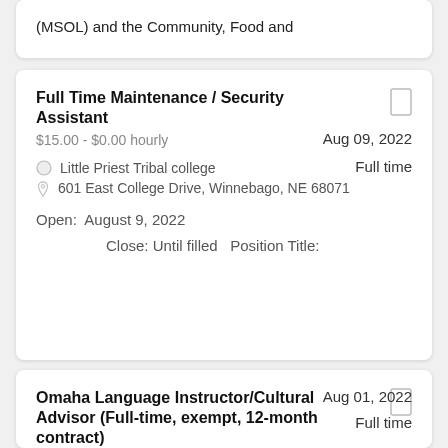(MSOL) and the Community, Food and
Full Time Maintenance / Security Assistant
$15.00 - $0.00 hourly
Aug 09, 2022
Full time
Little Priest Tribal college
601 East College Drive, Winnebago, NE 68071
Open:  August 9, 2022
Close: Until filled   Position Title:
Omaha Language Instructor/Cultural Advisor (Full-time, exempt, 12-month contract)
Aug 01, 2022
Full time
$42,000 yearly